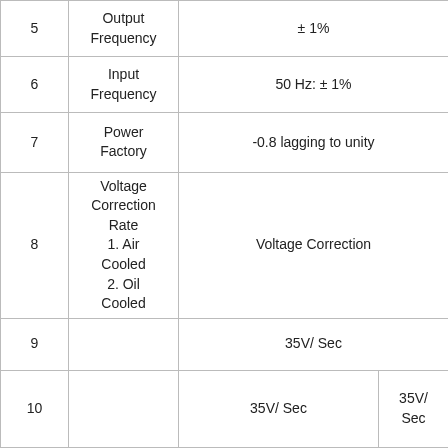| 5 | Output Frequency | ± 1% |  |
| 6 | Input Frequency | 50 Hz: ± 1% |  |
| 7 | Power Factory | -0.8 lagging to unity |  |
| 8 | Voltage Correction Rate
1. Air Cooled
2. Oil Cooled | Voltage Correction |  |
| 9 |  | 35V/ Sec |  |
| 10 |  | 35V/ Sec | 35V/ Sec |